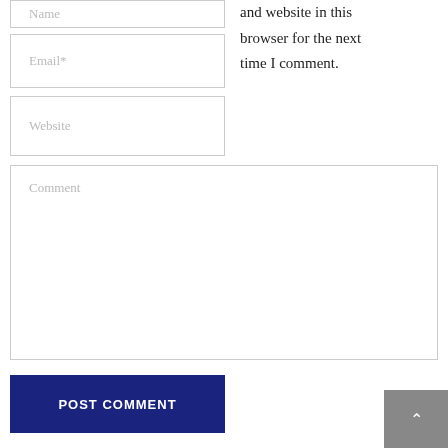[Figure (screenshot): Name input field (partially visible at top)]
and website in this browser for the next time I comment.
[Figure (screenshot): Email* input field]
[Figure (screenshot): Website input field]
[Figure (screenshot): Comment textarea]
[Figure (screenshot): POST COMMENT button]
[Figure (screenshot): Scroll to top arrow button (grey)]